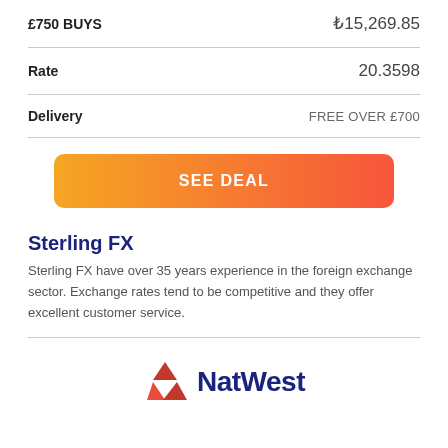| Label | Value |
| --- | --- |
| £750 BUYS | ₺15,269.85 |
| Rate | 20.3598 |
| Delivery | FREE OVER £700 |
[Figure (other): Orange to red gradient button labeled SEE DEAL]
Sterling FX
Sterling FX have over 35 years experience in the foreign exchange sector. Exchange rates tend to be competitive and they offer excellent customer service.
[Figure (logo): NatWest logo with red diamond/triangle icon and dark blue NatWest text]